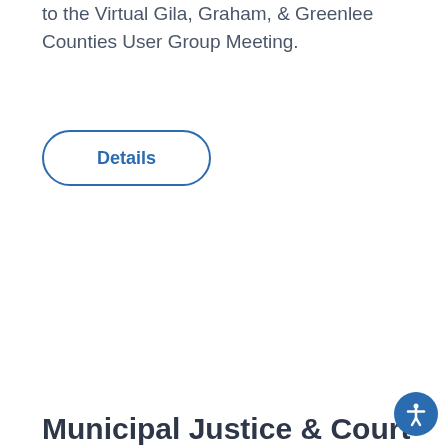to the Virtual Gila, Graham, & Greenlee Counties User Group Meeting.
[Figure (other): A rounded pill-shaped button with blue border and blue bold text reading 'Details']
Municipal Justice & Court